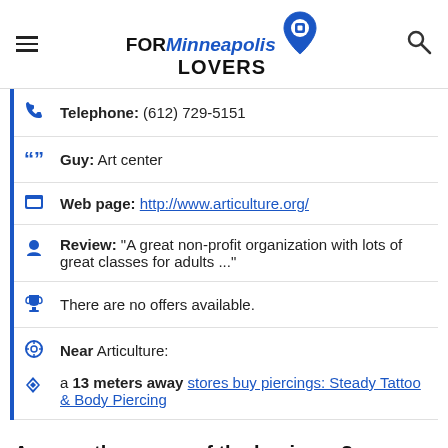FOR Minneapolis LOVERS
Telephone: (612) 729-5151
Guy: Art center
Web page: http://www.articulture.org/
Review: "A great non-profit organization with lots of great classes for adults ..."
There are no offers available.
Near Articulture:
a 13 meters away stores buy piercings: Steady Tattoo & Body Piercing
Are you the owner of the business? PROMOTE IT!